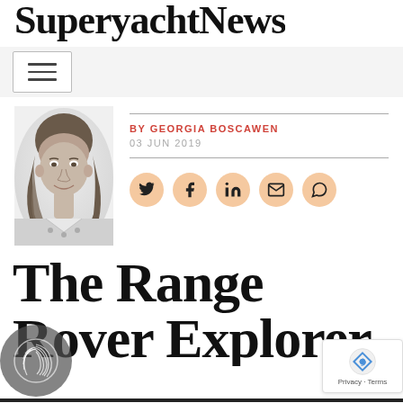SuperyachtNews
[Figure (other): Hamburger menu navigation button]
[Figure (photo): Black and white headshot photo of Georgia Boscawen]
BY GEORGIA BOSCAWEN
03 JUN 2019
[Figure (other): Social media share icons: Twitter, Facebook, LinkedIn, Email, WhatsApp]
The Range Rover Explorer